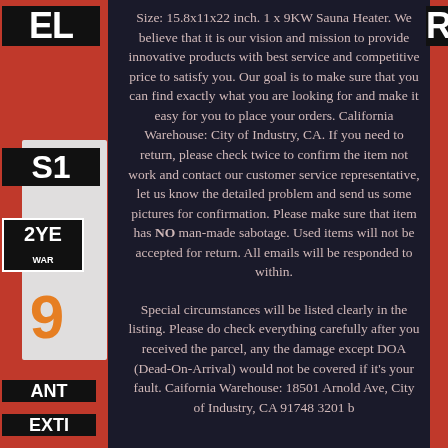Size: 15.8x11x22 inch. 1 x 9KW Sauna Heater. We believe that it is our vision and mission to provide innovative products with best service and competitive price to satisfy you. Our goal is to make sure that you can find exactly what you are looking for and make it easy for you to place your orders. California Warehouse: City of Industry, CA. If you need to return, please check twice to confirm the item not work and contact our customer service representative, let us know the detailed problem and send us some pictures for confirmation. Please make sure that item has NO man-made sabotage. Used items will not be accepted for return. All emails will be responded to within.
Special circumstances will be listed clearly in the listing. Please do check everything carefully after you received the parcel, any the damage except DOA (Dead-On-Arrival) would not be covered if it's your fault. Caifornia Warehouse: 18501 Arnold Ave, City of Industry, CA 91748 3201 b